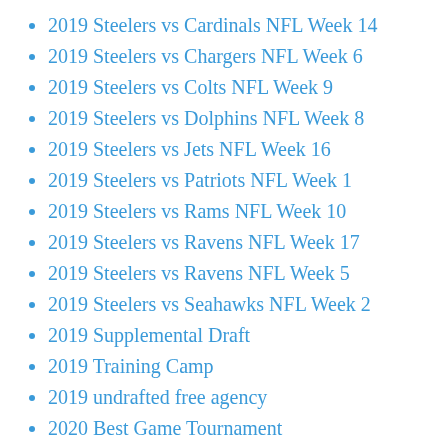2019 Steelers vs Cardinals NFL Week 14
2019 Steelers vs Chargers NFL Week 6
2019 Steelers vs Colts NFL Week 9
2019 Steelers vs Dolphins NFL Week 8
2019 Steelers vs Jets NFL Week 16
2019 Steelers vs Patriots NFL Week 1
2019 Steelers vs Rams NFL Week 10
2019 Steelers vs Ravens NFL Week 17
2019 Steelers vs Ravens NFL Week 5
2019 Steelers vs Seahawks NFL Week 2
2019 Supplemental Draft
2019 Training Camp
2019 undrafted free agency
2020 Best Game Tournament
2020 college football
2020 election